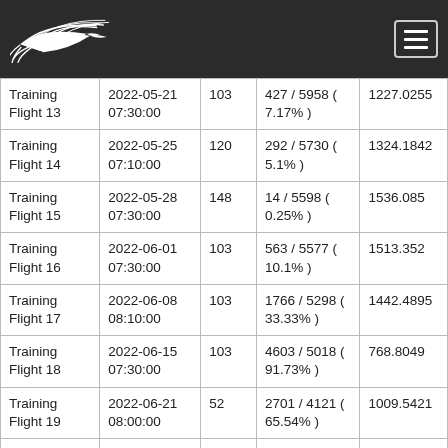[Figure (logo): White bird/dove logo on dark background header bar with hamburger menu icon]
| Name | Date | Pigeons | Arrivals | Avg Speed |
| --- | --- | --- | --- | --- |
| Training Flight 13 | 2022-05-21 07:30:00 | 103 | 427 / 5958 ( 7.17% ) | 1227.0255 |
| Training Flight 14 | 2022-05-25 07:10:00 | 120 | 292 / 5730 ( 5.1% ) | 1324.1842 |
| Training Flight 15 | 2022-05-28 07:30:00 | 148 | 14 / 5598 ( 0.25% ) | 1536.085 |
| Training Flight 16 | 2022-06-01 07:30:00 | 103 | 563 / 5577 ( 10.1% ) | 1513.352 |
| Training Flight 17 | 2022-06-08 08:10:00 | 103 | 1766 / 5298 ( 33.33% ) | 1442.4895 |
| Training Flight 18 | 2022-06-15 07:30:00 | 103 | 4603 / 5018 ( 91.73% ) | 768.8049 |
| Training Flight 19 | 2022-06-21 08:00:00 | 52 | 2701 / 4121 ( 65.54% ) | 1009.5421 |
| Training Flight 20 - | 2022-06-23 | 77 | - / 4167 ( 0% | 0 |